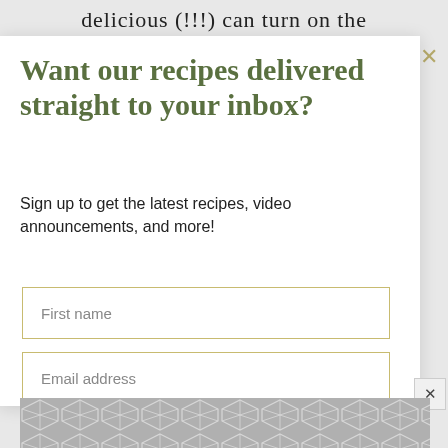delicious (!!!) can turn on the
Want our recipes delivered straight to your inbox?
Sign up to get the latest recipes, video announcements, and more!
First name
Email address
Subscribe
[Figure (other): Geometric hexagonal tile pattern in grey and white at the bottom of the page]